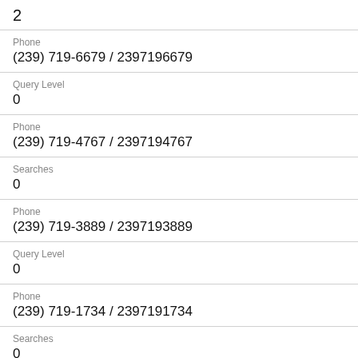2
Phone
(239) 719-6679 / 2397196679
Query Level
0
Phone
(239) 719-4767 / 2397194767
Searches
0
Phone
(239) 719-3889 / 2397193889
Query Level
0
Phone
(239) 719-1734 / 2397191734
Searches
0
Phone